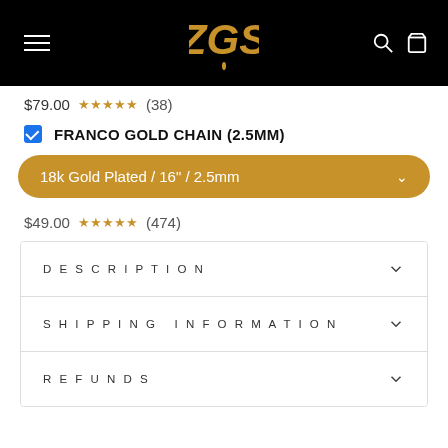[Figure (logo): ZGS brand logo in gold on black header background]
$79.00 ★★★★★ (38)
FRANCO GOLD CHAIN (2.5MM)
18k Gold Plated / 16" / 2.5mm
$49.00 ★★★★★ (474)
DESCRIPTION
SHIPPING INFORMATION
REFUNDS